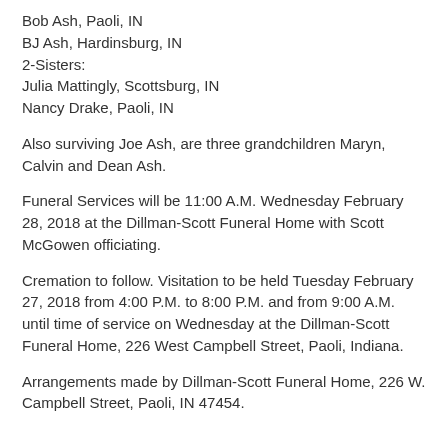Bob Ash, Paoli, IN
BJ Ash, Hardinsburg, IN
2-Sisters:
Julia Mattingly, Scottsburg, IN
Nancy Drake, Paoli, IN
Also surviving Joe Ash, are three grandchildren Maryn, Calvin and Dean Ash.
Funeral Services will be 11:00 A.M. Wednesday February 28, 2018 at the Dillman-Scott Funeral Home with Scott McGowen officiating.
Cremation to follow. Visitation to be held Tuesday February 27, 2018 from 4:00 P.M. to 8:00 P.M. and from 9:00 A.M. until time of service on Wednesday at the Dillman-Scott Funeral Home, 226 West Campbell Street, Paoli, Indiana.
Arrangements made by Dillman-Scott Funeral Home, 226 W. Campbell Street, Paoli, IN 47454.